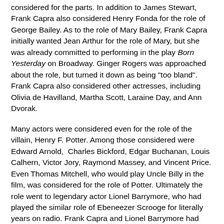considered for the parts. In addition to James Stewart, Frank Capra also considered Henry Fonda for the role of George Bailey. As to the role of Mary Bailey, Frank Capra initially wanted Jean Arthur for the role of Mary, but she was already committed to performing in the play Born Yesterday on Broadway. Ginger Rogers was approached about the role, but turned it down as being "too bland". Frank Capra also considered other actresses, including Olivia de Havilland, Martha Scott, Laraine Day, and Ann Dvorak.
Many actors were considered even for the role of the villain, Henry F. Potter. Among those considered were Edward Arnold, Charles Bickford, Edgar Buchanan, Louis Calhern, Victor Jory, Raymond Massey, and Vincent Price. Even Thomas Mitchell, who would play Uncle Billy in the film, was considered for the role of Potter. Ultimately the role went to legendary actor Lionel Barrymore, who had played the similar role of Ebeneezer Scrooge for literally years on radio. Frank Capra and Lionel Barrymore had earlier worked together on You Can't Take It With You (1938), in which Mr. Barrymore played the very different role of "Grandpa" Martin Vanderhof.